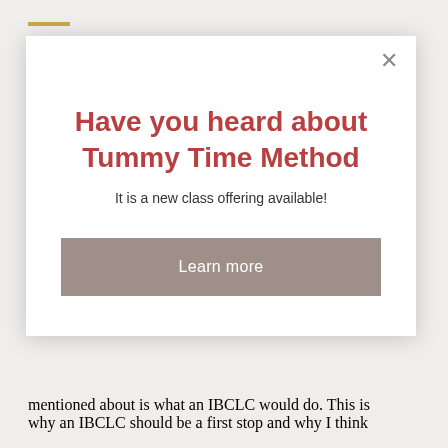[Figure (screenshot): Modal popup dialog with close X button, bold red/burgundy heading, subtitle text, and a gray 'Learn more' button on a white background]
Have you heard about Tummy Time Method
It is a new class offering available!
Learn more
mentioned about is what an IBCLC would do. This is why an IBCLC should be a first stop and why I think